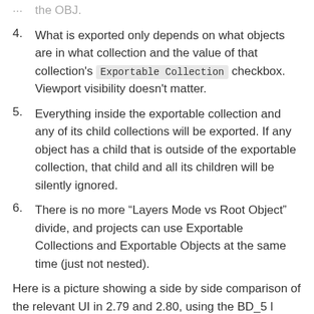(truncated top) ...the OBJ.
4. What is exported only depends on what objects are in what collection and the value of that collection's Exportable Collection checkbox. Viewport visibility doesn't matter.
5. Everything inside the exportable collection and any of its child collections will be exported. If any object has a child that is outside of the exportable collection, that child and all its children will be silently ignored.
6. There is no more “Layers Mode vs Root Object” divide, and projects can use Exportable Collections and Exportable Objects at the same time (just not nested).
Here is a picture showing a side by side comparison of the relevant UI in 2.79 and 2.80, using the BD_5 l...